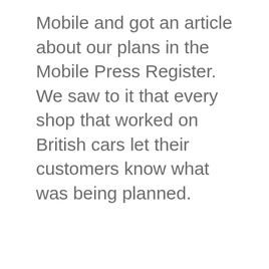Mobile and got an article about our plans in the Mobile Press Register. We saw to it that every shop that worked on British cars let their customers know what was being planned.